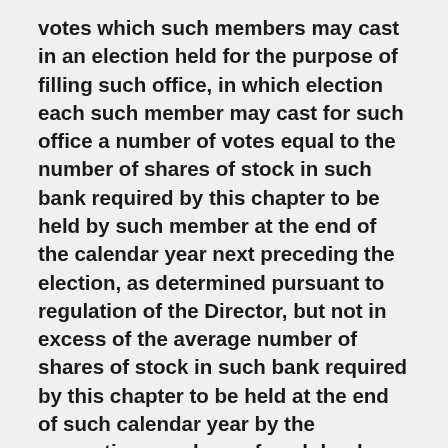votes which such members may cast in an election held for the purpose of filling such office, in which election each such member may cast for such office a number of votes equal to the number of shares of stock in such bank required by this chapter to be held by such member at the end of the calendar year next preceding the election, as determined pursuant to regulation of the Director, but not in excess of the average number of shares of stock in such bank required by this chapter to be held at the end of such calendar year by the respective members of such bank located in such State, as so determined. No person who is an officer or director of a member that fails to meet any applicable capital requirement is eligible to hold the office of Federal Home Loan Bank director. As used in this subsection and in subsection (c) of this section, the term "member" means a member of a Federal home loan bank which was a member of such bank at the end of such calendar year.